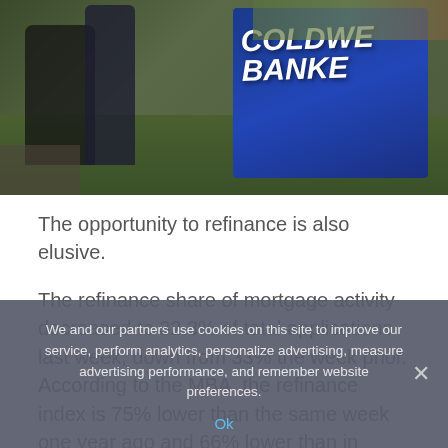[Figure (photo): Two people walking in front of a Coldwell Banker real estate sign outside a property with green lawn and plants]
The opportunity to refinance is also elusive.
The refinance share of mortgage activity decreased to 32.3% of total applications last week, down from 33% the week prior. According to the MBA, the refinance index is 75% lower than the same week one year ago and 66% lower than in January of this year.
Only 822,000 high-quality candidates could show at least
We and our partners use cookies on this site to improve our service, perform analytics, personalize advertising, measure advertising performance, and remember website preferences.
Ok